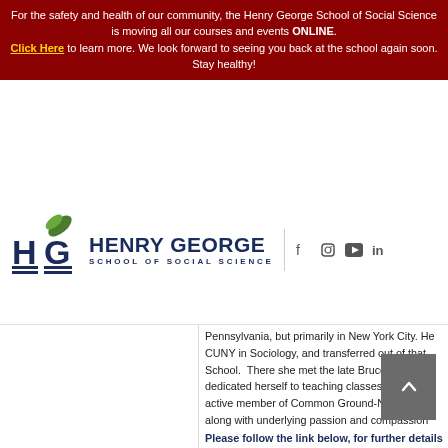For the safety and health of our community, the Henry George School of Social Science is moving all our courses and events ONLINE. Click Here to learn more. We look forward to seeing you back at the school again soon. Stay healthy!
[Figure (logo): Henry George School of Social Science logo with HG monogram and green leaf, plus social media icons (Facebook, Instagram, YouTube, LinkedIn)]
Pennsylvania, but primarily in New York City. He CUNY in Sociology, and transferred out of that School. There she met the late Bruce Oatman o dedicated herself to teaching classes at the HG active member of Common Ground-NYC, conve along with underlying passion and compassion
Please follow the link below, for further details
https://www.eventbrite.com/e/helene-breban-c work-tickets-23808992337